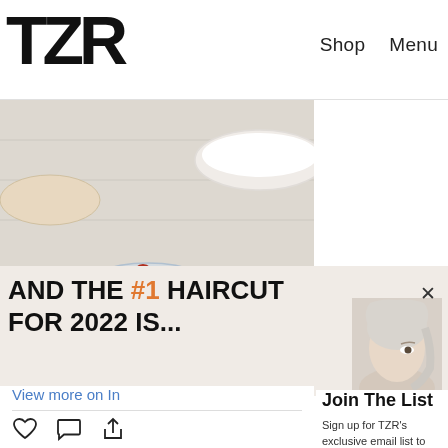TZR   Shop   Menu
[Figure (photo): Overhead photo of kitchen bowls with raspberries and a copper lid on a linen surface]
AND THE #1 HAIRCUT FOR 2022 IS...
[Figure (photo): Woman with platinum blonde hair, side profile]
View more on In
1,144 likes
food52
Meet our @fivete saucepan lids, sto oven to table. Be plastic wrap. Tap
#f52community
view all 14 comm
Join The List
Sign up for TZR's exclusive email list to uncover this season's top trends
Email address   Subscribe